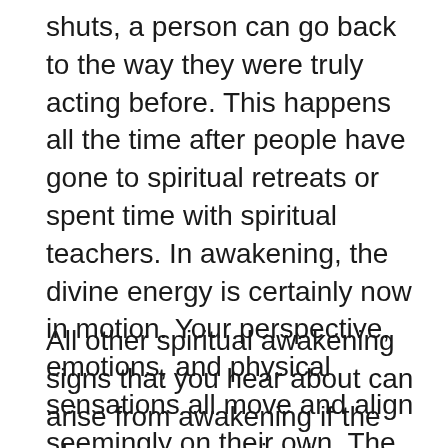shuts, a person can go back to the way they were truly acting before. This happens all the time after people have gone to spiritual retreats or spent time with spiritual teachers. In awakening, the divine energy is certainly now in motion. Your perspective, emotions, and physical sensations all move and align seemingly on their own. The lights in the house are truly all on. Sure you can close your eyes, but you know the truth. There can be really a feeling that there is certainly no going back.
All other spiritual awakening signs that you hear about can arise from awakening if the above ones are simply present. They are without a doubt secondary spiritual awakening signs or symptoms, although I